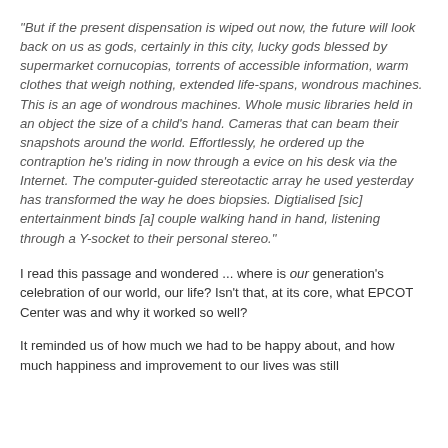"But if the present dispensation is wiped out now, the future will look back on us as gods, certainly in this city, lucky gods blessed by supermarket cornucopias, torrents of accessible information, warm clothes that weigh nothing, extended life-spans, wondrous machines. This is an age of wondrous machines. Whole music libraries held in an object the size of a child's hand. Cameras that can beam their snapshots around the world. Effortlessly, he ordered up the contraption he's riding in now through a evice on his desk via the Internet. The computer-guided stereotactic array he used yesterday has transformed the way he does biopsies. Digtialised [sic] entertainment binds [a] couple walking hand in hand, listening through a Y-socket to their personal stereo."
I read this passage and wondered ... where is our generation's celebration of our world, our life? Isn't that, at its core, what EPCOT Center was and why it worked so well?
It reminded us of how much we had to be happy about, and how much happiness and improvement to our lives was still